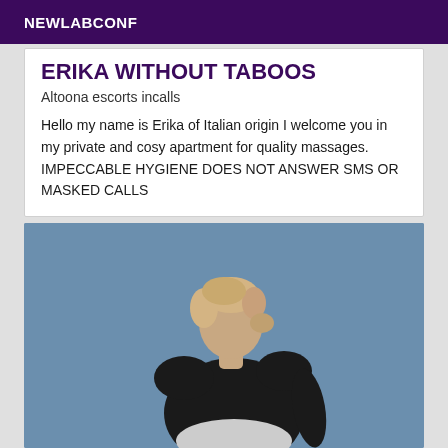NEWLABCONF
ERIKA WITHOUT TABOOS
Altoona escorts incalls
Hello my name is Erika of Italian origin I welcome you in my private and cosy apartment for quality massages. IMPECCABLE HYGIENE DOES NOT ANSWER SMS OR MASKED CALLS
[Figure (photo): Woman with short blonde hair wearing a black sleeveless top, photographed from the side/back against a muted blue-grey background, face not visible]